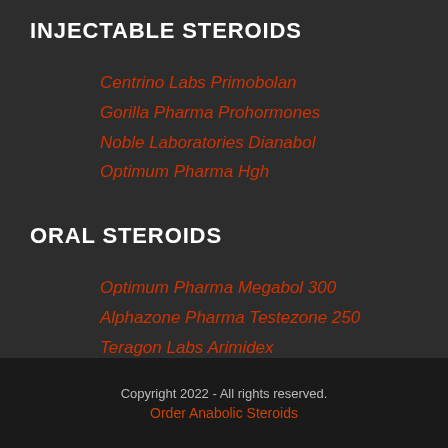INJECTABLE STEROIDS
Centrino Labs Primobolan
Gorilla Pharma Prohormones
Noble Laboratories Dianabol
Optimum Pharma Hgh
ORAL STEROIDS
Optimum Pharma Megabol 300
Alphazone Pharma Testezone 250
Teragon Labs Arimidex
Zion Labs Oxy 50
Copyright 2022 - All rights reserved.
Order Anabolic Steroids